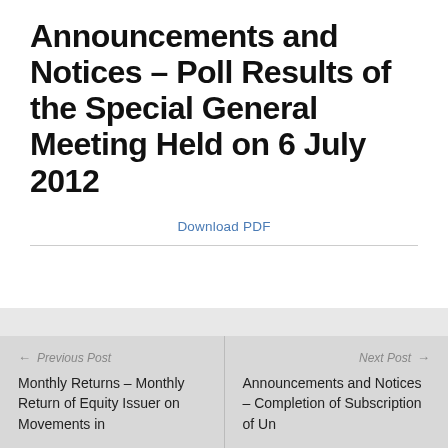Announcements and Notices – Poll Results of the Special General Meeting Held on 6 July 2012
Download PDF
← Previous Post
Monthly Returns – Monthly Return of Equity Issuer on Movements in
Next Post →
Announcements and Notices – Completion of Subscription of Un